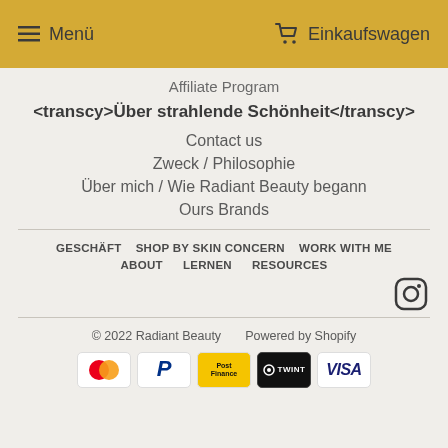Menü   Einkaufswagen
Affiliate Program
<transcy>Über strahlende Schönheit</transcy>
Contact us
Zweck / Philosophie
Über mich / Wie Radiant Beauty begann
Ours Brands
GESCHÄFT   SHOP BY SKIN CONCERN   WORK WITH ME   ABOUT   LERNEN   RESOURCES
[Figure (logo): Instagram icon]
© 2022 Radiant Beauty   Powered by Shopify
[Figure (other): Payment method icons: Mastercard, PayPal, PostFinance, TWINT, VISA]